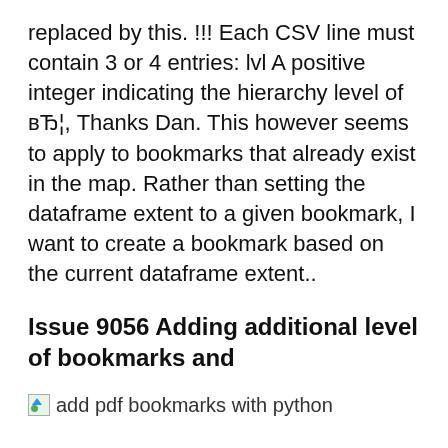replaced by this. !!! Each CSV line must contain 3 or 4 entries: lvl A positive integer indicating the hierarchy level of вЂ¦, Thanks Dan. This however seems to apply to bookmarks that already exist in the map. Rather than setting the dataframe extent to a given bookmark, I want to create a bookmark based on the current dataframe extent..
Issue 9056 Adding additional level of bookmarks and
[Figure (photo): Broken image placeholder with alt text 'add pdf bookmarks with python']
Python library for adding page numbers and/or bookmarks to. This will rename the...